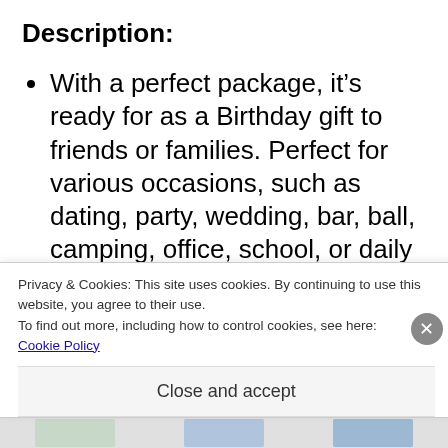Description:
With a perfect package, it’s ready for as a Birthday gift to friends or families. Perfect for various occasions, such as dating, party, wedding, bar, ball, camping, office, school, or daily makeups.
Privacy & Cookies: This site uses cookies. By continuing to use this website, you agree to their use.
To find out more, including how to control cookies, see here:
Cookie Policy
Close and accept